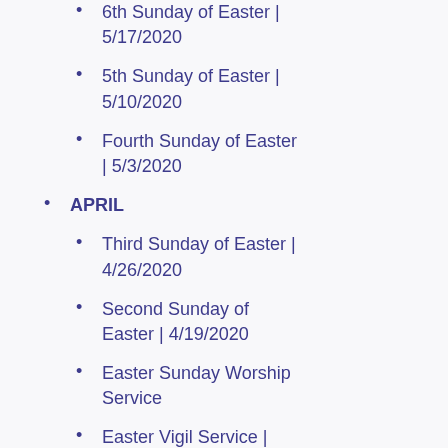6th Sunday of Easter | 5/17/2020
5th Sunday of Easter | 5/10/2020
Fourth Sunday of Easter | 5/3/2020
APRIL
Third Sunday of Easter | 4/26/2020
Second Sunday of Easter | 4/19/2020
Easter Sunday Worship Service
Easter Vigil Service | 4/11/2020
A Message From The Pastor
Good Friday Service |